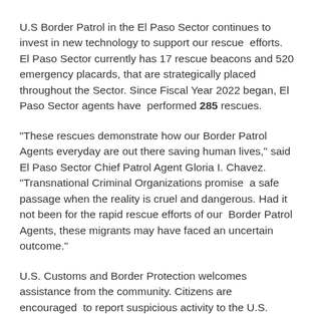U.S Border Patrol in the El Paso Sector continues to invest in new technology to support our rescue efforts. El Paso Sector currently has 17 rescue beacons and 520 emergency placards, that are strategically placed throughout the Sector. Since Fiscal Year 2022 began, El Paso Sector agents have performed 285 rescues.
"These rescues demonstrate how our Border Patrol Agents everyday are out there saving human lives," said El Paso Sector Chief Patrol Agent Gloria I. Chavez. "Transnational Criminal Organizations promise a safe passage when the reality is cruel and dangerous. Had it not been for the rapid rescue efforts of our Border Patrol Agents, these migrants may have faced an uncertain outcome."
U.S. Customs and Border Protection welcomes assistance from the community. Citizens are encouraged to report suspicious activity to the U.S. Border Patrol while remaining anonymous by calling 1-800-635- 2509.